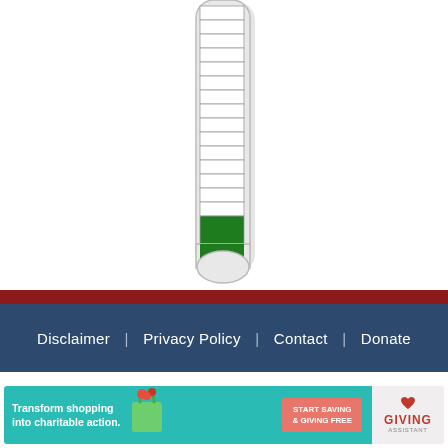[Figure (infographic): A fundraising thermometer graphic showing mostly empty segments with a small green filled section at the bottom, indicating low progress toward a fundraising goal.]
Disclaimer  |  Privacy Policy  |  Contact  |  Donate
[Figure (infographic): Advertisement banner: 'Transform shopping into charitable action.' with a shopping bag illustration, a red button 'START SAVING & GIVING FREE', and the Giving Assistant logo on the right.]